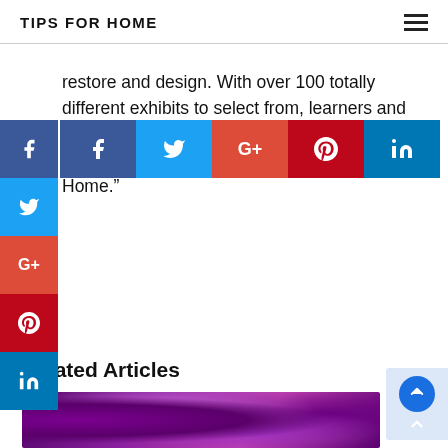TIPS FOR HOME
restore and design. With over 100 totally different exhibits to select from, learners and consultants can profit from watching the House and Backyard Tv Community. HGTV: “Start at Home.”
[Figure (infographic): Social media sharing buttons: floating sidebar with Facebook, Twitter, Google+, Pinterest, LinkedIn icons; and a horizontal share bar with Facebook, Twitter, Google+, Pinterest, LinkedIn buttons]
Related Articles
[Figure (photo): Purple amethyst crystal photo used as thumbnail for a related article]
[Figure (infographic): Back to top button widget with blue circle arrow icon]